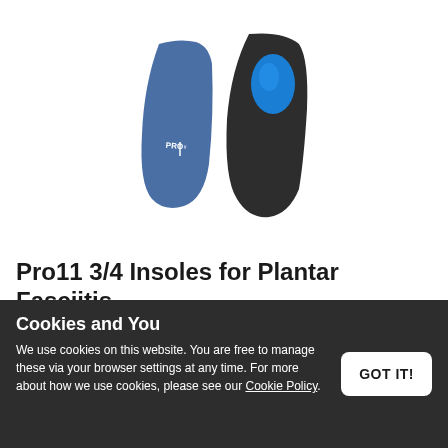[Figure (photo): Product photo showing two Pro11 3/4 length insoles: one viewed from the top (blue, flat insole shape) and one standing upright showing the heel cup (dark grey with blue heel pad).]
Pro11 3/4 Insoles for Plantar Fasciitis and Over-Pronation
Cookies and You
We use cookies on this website. You are free to manage these via your browser settings at any time. For more about how we use cookies, please see our Cookie Policy.
GOT IT!